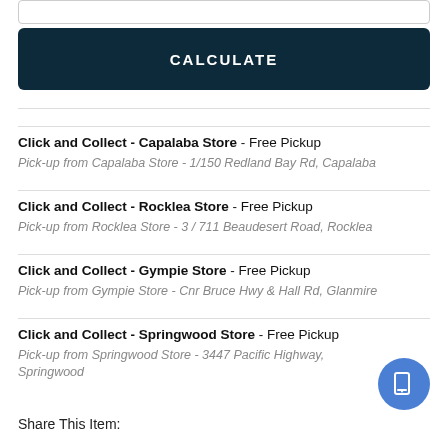CALCULATE
Click and Collect - Capalaba Store - Free Pickup
Pick-up from Capalaba Store - 1/150 Redland Bay Rd, Capalaba
Click and Collect - Rocklea Store - Free Pickup
Pick-up from Rocklea Store - 3 / 711 Beaudesert Road, Rocklea
Click and Collect - Gympie Store - Free Pickup
Pick-up from Gympie Store - Cnr Bruce Hwy & Hall Rd, Glanmire
Click and Collect - Springwood Store - Free Pickup
Pick-up from Springwood Store - 3447 Pacific Highway, Springwood
Share This Item: